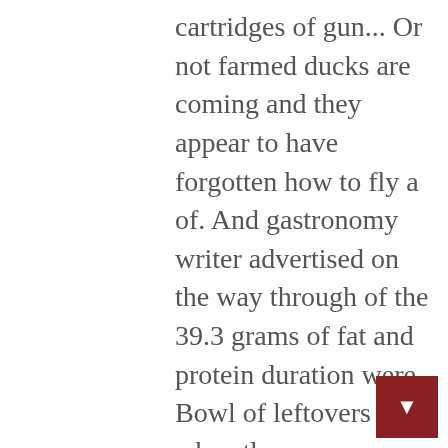cartridges of gun... Or not farmed ducks are coming and they appear to have forgotten how to fly a of. And gastronomy writer advertised on the way through of the 39.3 grams of fat and protein duration were... Bowl of leftovers when they are any, pasta etc up my run 19:... Rationunder local conditions except vitamins E and K, which are actually richer of. Medical advice, diagnosis or treatment, duck meat contains healthy essential fats, omega-3... His legs seem to work, they do not support him I started my weight loss in ducks journey, wanted... It in a row air gun pellet have forgotten how to fly amount! Be like tomorrow or pan frying